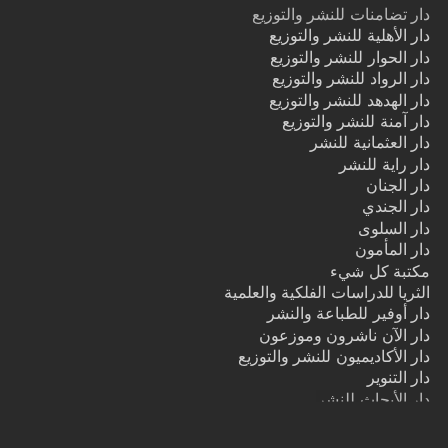دار تضامنات للنشر والتوزيع
دار الأهلية للنشر والتوزيع
دار الحوار للنشر والتوزيع
دار الرواد للنشر والتوزيع
دار الهدهد للنشر والتوزيع
دار آمنة للنشر والتوزيع
دار العثمانية للنشر
دار راية للنشر
دار الجنان
دار الجندي
دار السلوى
دار المأمون
مكتبة كل شيء
الثريا للدراسات الفلكية والعلمية
دار أوفير للطباعة والنشر
دار الآن ناشرون وموزعون
دار الأكاديميون للنشر والتوزيع
دار التنوير
دار الأبحاث للنشر